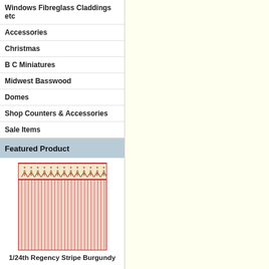Windows Fibreglass Claddings etc
Accessories
Christmas
B C Miniatures
Midwest Basswood
Domes
Shop Counters & Accessories
Sale Items
Featured Product
[Figure (illustration): Wallpaper pattern showing vertical red and cream stripes with a decorative floral/scroll border at the top — 1/24th Regency Stripe Burgundy]
1/24th Regency Stripe Burgundy